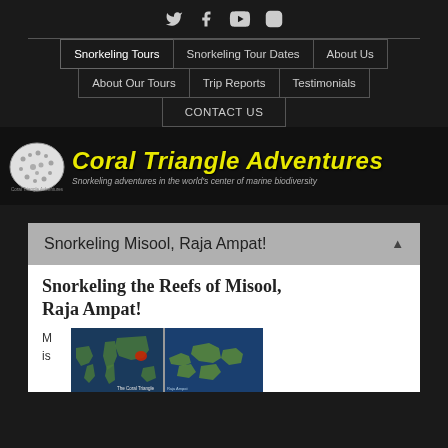Social icons: Twitter, Facebook, YouTube, Instagram
Navigation: Snorkeling Tours | Snorkeling Tour Dates | About Us | About Our Tours | Trip Reports | Testimonials | CONTACT US
[Figure (logo): Coral Triangle Adventures logo with coral/brain coral icon and yellow italic text 'Coral Triangle Adventures' with subtitle 'Snorkeling adventures in the world's center of marine biodiversity']
Snorkeling Misool, Raja Ampat!
Snorkeling the Reefs of Misool, Raja Ampat!
[Figure (map): Two maps: a world map with Coral Triangle highlighted in red/orange, and a detailed map of Raja Ampat / Misool area]